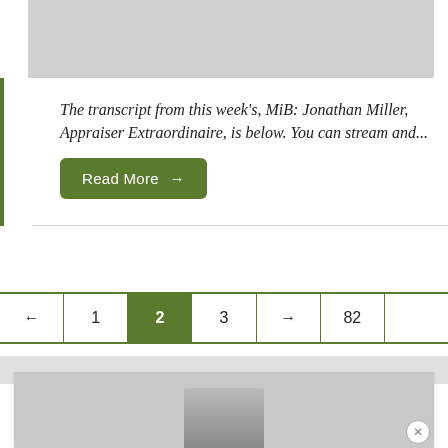[Figure (photo): Gray placeholder image at the top of the page]
The transcript from this week's, MiB: Jonathan Miller, Appraiser Extraordinaire, is below. You can stream and...
Read More →
[Figure (other): Pagination bar with back arrow, page 1, active page 2, page 3, forward arrow, page 82]
[Figure (photo): Bottom advertisement card with partial photo of a person's face and a close (×) button]